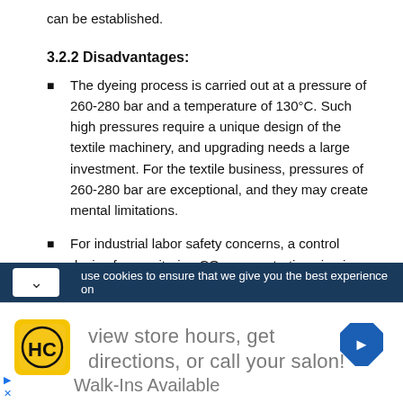can be established.
3.2.2 Disadvantages:
The dyeing process is carried out at a pressure of 260-280 bar and a temperature of 130°C. Such high pressures require a unique design of the textile machinery, and upgrading needs a large investment. For the textile business, pressures of 260-280 bar are exceptional, and they may create mental limitations.
For industrial labor safety concerns, a control device for monitoring CO₂ concentrations in air must be installed due to the costs of effective CO₂...